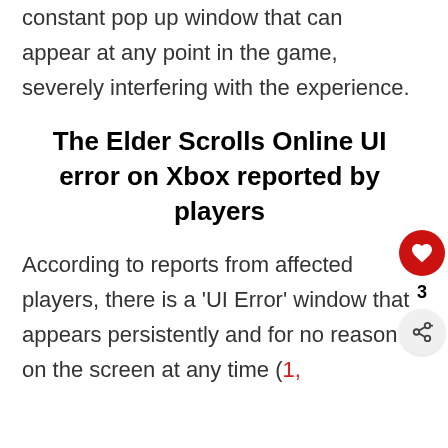constant pop up window that can appear at any point in the game, severely interfering with the experience.
The Elder Scrolls Online UI error on Xbox reported by players
According to reports from affected players, there is a 'UI Error' window that appears persistently and for no reason on the screen at any time (1,